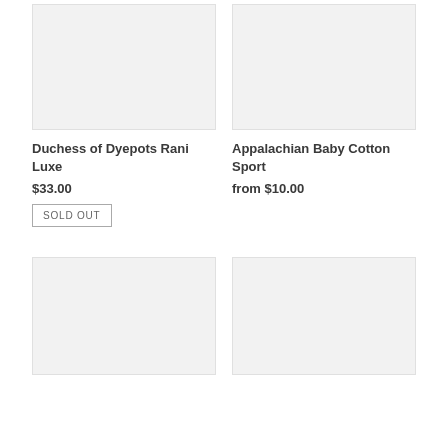[Figure (photo): Product image placeholder for Duchess of Dyepots Rani Luxe, light gray background]
Duchess of Dyepots Rani Luxe
$33.00
SOLD OUT
[Figure (photo): Product image placeholder for Appalachian Baby Cotton Sport, light gray background]
Appalachian Baby Cotton Sport
from $10.00
[Figure (photo): Product image placeholder bottom left, light gray background]
[Figure (photo): Product image placeholder bottom right, light gray background]